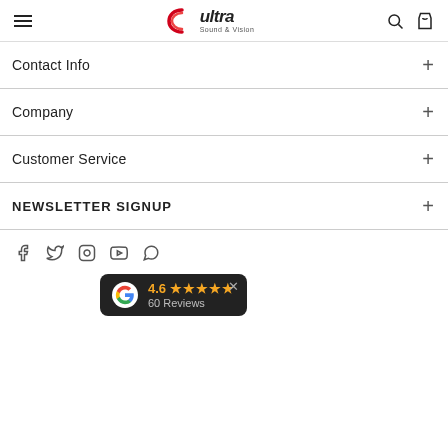Ultra Sound & Vision - navigation header with hamburger menu, logo, search and bag icons
Contact Info
Company
Customer Service
NEWSLETTER SIGNUP
[Figure (infographic): Social media icons: Facebook, Twitter, Instagram, YouTube, WhatsApp]
[Figure (infographic): Google review badge showing 4.6 stars rating with 60 Reviews on dark background]